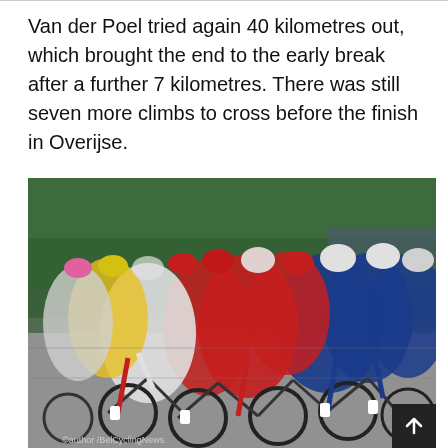Van der Poel tried again 40 kilometres out, which brought the end to the early break after a further 7 kilometres. There was still seven more climbs to cross before the finish in Overijse.
[Figure (photo): A large peloton of cyclists racing on a road, wearing colorful team kits in red, blue, white, and yellow. Riders are tightly packed, leaning forward on their bicycles. Spectators line the right side of the road. The image appears to be from a professional cycling race.]
©author /BelCyclingNews